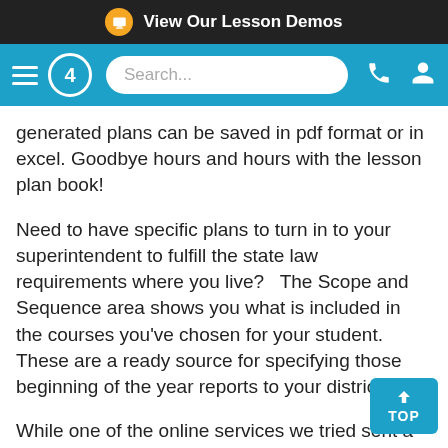View Our Lesson Demos
[Figure (screenshot): Blue navigation bar with hamburger menu, Time4Learning logo (circle with 4 and gear), search box, phone icon, and user icon]
generated plans can be saved in pdf format or in excel. Goodbye hours and hours with the lesson plan book!
Need to have specific plans to turn in to your superintendent to fulfill the state law requirements where you live?   The Scope and Sequence area shows you what is included in the courses you've chosen for your student. These are a ready source for specifying those beginning of the year reports to your district.
While one of the online services we tried sent a weekly progress report straight to my email (nice!) with Time4Learning you have to view the reports through the Parent Admin area.  The reports there are very thorough, however, and at any time you can click on